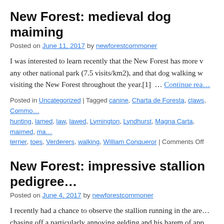New Forest: medieval dog maiming
Posted on June 11, 2017 by newforestcommoner
I was interested to learn recently that the New Forest has more v… any other national park (7.5 visits/km2), and that dog walking w… visiting the New Forest throughout the year.[1]  … Continue rea…
Posted in Uncategorized | Tagged canine, Charta de Foresta, claws, Commo… hunting, lamed, law, lawed, Lymington, Lyndhurst, Magna Carta, maimed, ma… terrier, toes, Verderers, walking, William Conqueror | Comments Off
New Forest: impressive stallion pedigree…
Posted on June 4, 2017 by newforestcommoner
I recently had a chance to observe the stallion running in the are… chasing off a particularly annoying gelding and his harem of app… foals at foot, was looking on … Continue reading →
Posted in…